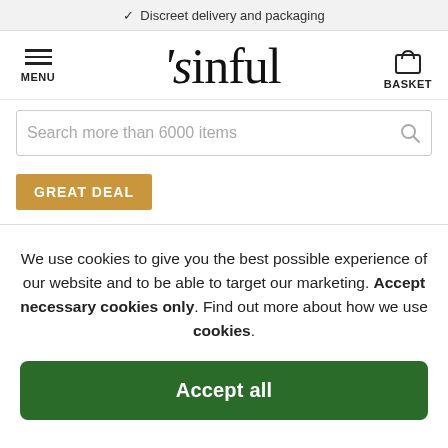✓ Discreet delivery and packaging
[Figure (logo): Sinful logo with stylized serif font and curl on the 's']
Search more than 6000 items
GREAT DEAL
We use cookies to give you the best possible experience of our website and to be able to target our marketing. Accept necessary cookies only. Find out more about how we use cookies.
Accept all